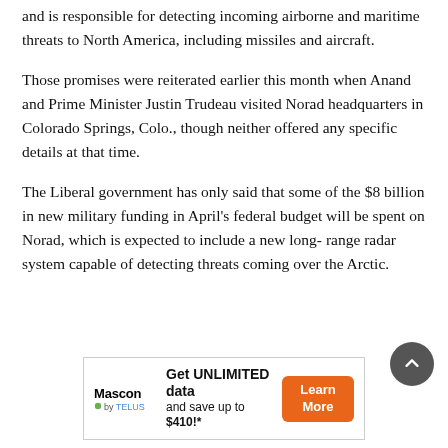and is responsible for detecting incoming airborne and maritime threats to North America, including missiles and aircraft.
Those promises were reiterated earlier this month when Anand and Prime Minister Justin Trudeau visited Norad headquarters in Colorado Springs, Colo., though neither offered any specific details at that time.
The Liberal government has only said that some of the $8 billion in new military funding in April's federal budget will be spent on Norad, which is expected to include a new long-range radar system capable of detecting threats coming over the Arctic.
[Figure (other): Advertisement banner for Mascon by TELUS: 'Get UNLIMITED data and save up to $410!*' with a Learn More button.]